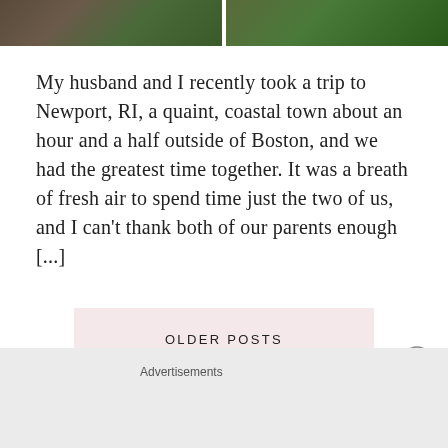[Figure (photo): Two side-by-side cropped photos showing outdoor garden/nature scenes with green foliage]
My husband and I recently took a trip to Newport, RI, a quaint, coastal town about an hour and a half outside of Boston, and we had the greatest time together. It was a breath of fresh air to spend time just the two of us, and I can't thank both of our parents enough [...]
READ MORE →
OLDER POSTS
Advertisements